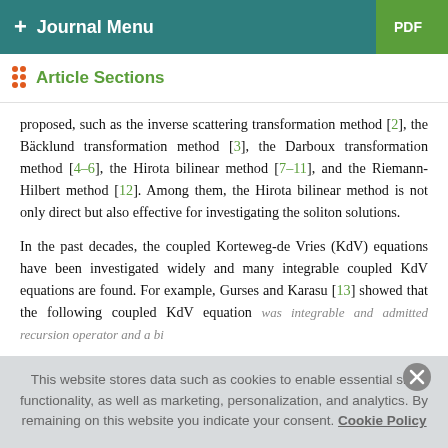+ Journal Menu | PDF
Article Sections
proposed, such as the inverse scattering transformation method [2], the Bäcklund transformation method [3], the Darboux transformation method [4–6], the Hirota bilinear method [7–11], and the Riemann-Hilbert method [12]. Among them, the Hirota bilinear method is not only direct but also effective for investigating the soliton solutions.
In the past decades, the coupled Korteweg-de Vries (KdV) equations have been investigated widely and many integrable coupled KdV equations are found. For example, Gurses and Karasu [13] showed that the following coupled KdV equation was integrable and admitted recursion operator and a bi
This website stores data such as cookies to enable essential site functionality, as well as marketing, personalization, and analytics. By remaining on this website you indicate your consent. Cookie Policy